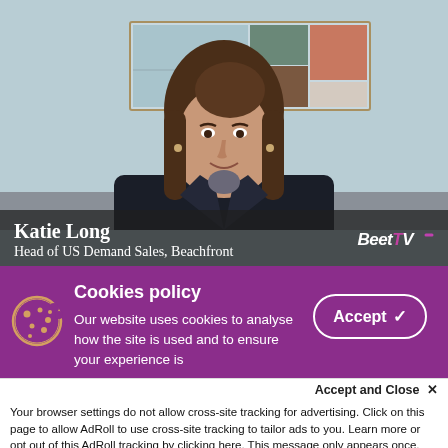[Figure (screenshot): Video thumbnail showing a woman (Katie Long) seated, smiling, wearing a dark blazer, with a colorful framed painting on the wall behind her. A name overlay at the bottom reads 'Katie Long, Head of US Demand Sales, Beachfront' with the BeetTV logo on the right.]
Cookies policy
Our website uses cookies to analyse how the site is used and to ensure your experience is consistent between visits.
Accept and Close ×
Your browser settings do not allow cross-site tracking for advertising. Click on this page to allow AdRoll to use cross-site tracking to tailor ads to you. Learn more or opt out of this AdRoll tracking by clicking here. This message only appears once.